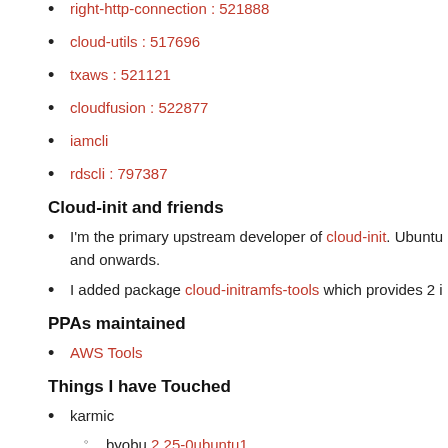right-http-connection : 521888
cloud-utils : 517696
txaws : 521121
cloudfusion : 522877
iamcli
rdscli : 797387
Cloud-init and friends
I'm the primary upstream developer of cloud-init. Ubuntu and onwards.
I added package cloud-initramfs-tools which provides 2 i
PPAs maintained
AWS Tools
Things I have Touched
karmic
byobu 2.25-0ubuntu1
ec2-ami-tools 1.3-34544-0ubuntu2